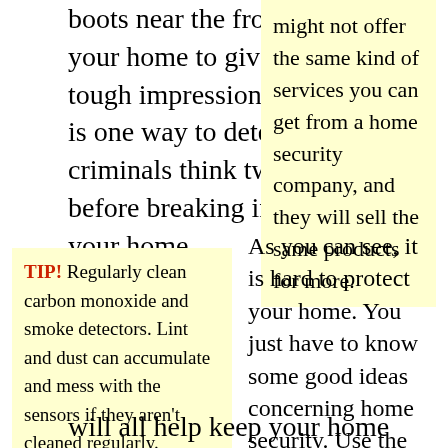boots near the front of your home to give off a tough impression. This is one way to deter criminals think twice before breaking into your home.
might not offer the same kind of services you can get from a home security company, and they will sell the same products for more.
TIP! Regularly clean carbon monoxide and smoke detectors. Lint and dust can accumulate and mess with the sensors if they aren't cleaned regularly.
As you can see, it is hard to protect your home. You just have to know some good ideas concerning home security. Use the ideas written here to maximize your home's security. Don't overlook any of the tips here because they will all help keep your home safe
will all help keep your home safe